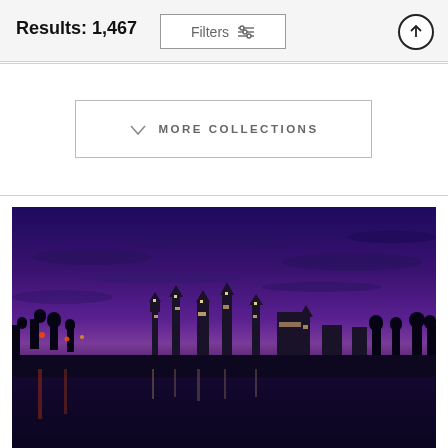Results: 1,467
Filters
MORE COLLECTIONS
[Figure (photo): Nighttime cityscape photo showing an ornate building with illuminated spires and towers reflected in water, silhouetted palm trees, and a dramatic purple and blue twilight sky with scattered clouds.]